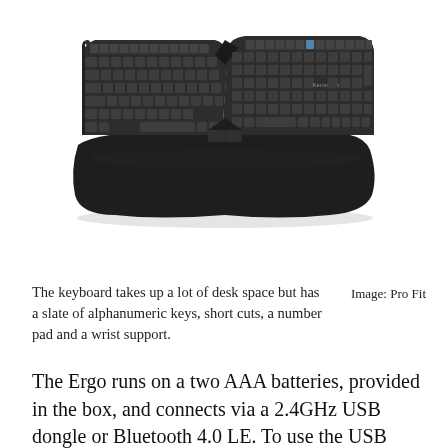[Figure (photo): A Kensington Pro Fit ergonomic split keyboard with a wrist rest, shown from above. The keyboard is dark gray/black, with keys split into left and right sections angled apart, a number pad on the right, shortcut keys at the top, and a large integrated wrist support at the bottom.]
The keyboard takes up a lot of desk space but has a slate of alphanumeric keys, short cuts, a number pad and a wrist support.
Image: Pro Fit
The Ergo runs on a two AAA batteries, provided in the box, and connects via a 2.4GHz USB dongle or Bluetooth 4.0 LE. To use the USB receiver you have